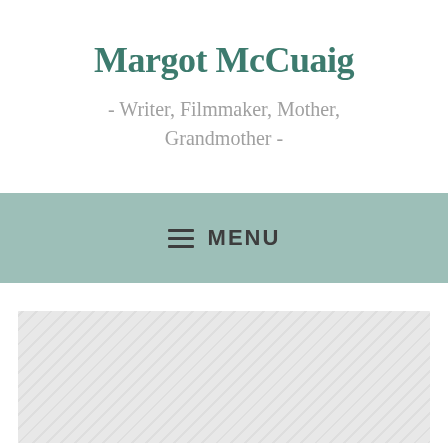Margot McCuaig
- Writer, Filmmaker, Mother, Grandmother -
≡ MENU
[Figure (photo): Image placeholder with hatched gray pattern, representing a photo content area below the navigation menu]